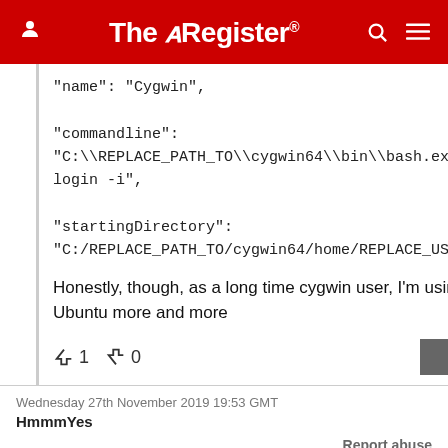The Register
"name": "Cygwin",

"commandline": "C:\\REPLACE_PATH_TO\\cygwin64\\bin\\bash.exe --login -i",

"startingDirectory": "C:/REPLACE_PATH_TO/cygwin64/home/REPLACE_USERNAME",
Honestly, though, as a long time cygwin user, I'm using WSL Ubuntu more and more
↑1  ↓0   Reply
Wednesday 27th November 2019 19:53 GMT
HmmmYes
Report abuse
Why dont MS just say Fuckit and port xfce to the